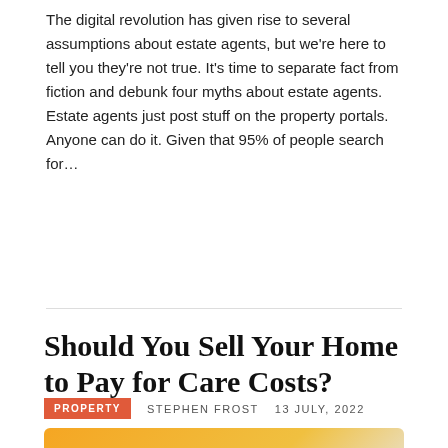The digital revolution has given rise to several assumptions about estate agents, but we're here to tell you they're not true. It's time to separate fact from fiction and debunk four myths about estate agents. Estate agents just post stuff on the property portals. Anyone can do it. Given that 95% of people search for…
CONTINUE READING
Should You Sell Your Home to Pay for Care Costs?
PROPERTY   STEPHEN FROST   13 JULY, 2022
[Figure (illustration): Orange and yellow gradient image with bold white text reading 'SHOULD YOU SELL' and a woman looking down. A green WhatsApp-style button overlay reads 'How can I help?']